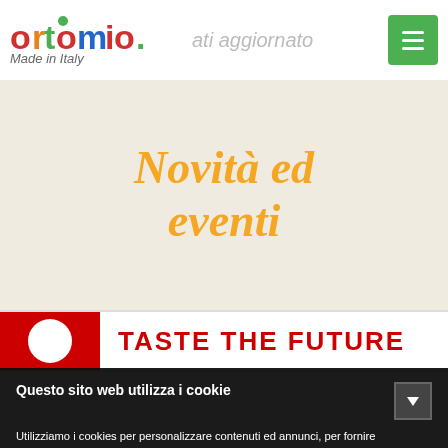[Figure (logo): Ortomio logo - Made in Italy brand logo with colorful lettering]
Novità ed eventi
[Figure (screenshot): Banner strip showing red circle element and 'TASTE THE FUTURE' text in red]
Questo sito web utilizza i cookie
Utilizziamo i cookies per personalizzare contenuti ed annunci, per fornire funzionalità dei social media e per analizzare il nostro traffico. Condividiamo inoltre informazioni sul modo in cui utilizza il nostro sito con i nostri partner che si occupano di analisi dei dati web, pubblicità e social media, i quali potrebbero combinarle con altre informazioni che ha fornito loro o che hanno raccolto dal suo utilizzo dei loro servizi. Acconsenta ai nostri cookies se continua ad utilizzare il nostro sito web.
| Necessario | Preferenze |
| --- | --- |
| Statistiche | Marketing |
Acconsento
Dettagli cookies policy    Privacy Policy completa